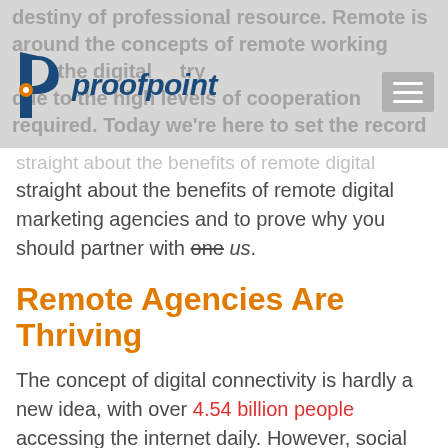proofpoint
straight about the benefits of remote digital marketing agencies and to prove why you should partner with one us.
Remote Agencies Are Thriving
The concept of digital connectivity is hardly a new idea, with over 4.54 billion people accessing the internet daily. However, social media and messaging apps are a more